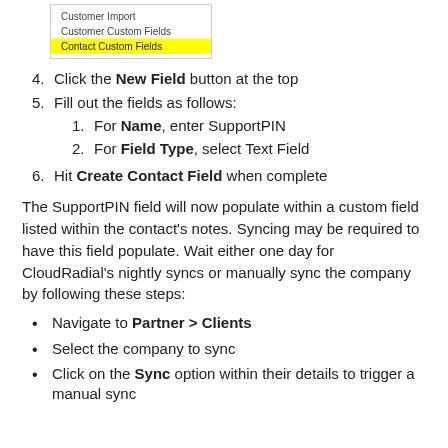[Figure (screenshot): Dropdown menu showing Customer Import, Customer Custom Fields, and Contact Custom Fields items, with Contact Custom Fields highlighted in yellow]
4. Click the New Field button at the top
5. Fill out the fields as follows:
1. For Name, enter SupportPIN
2. For Field Type, select Text Field
6. Hit Create Contact Field when complete
The SupportPIN field will now populate within a custom field listed within the contact's notes. Syncing may be required to have this field populate. Wait either one day for CloudRadial's nightly syncs or manually sync the company by following these steps:
Navigate to Partner > Clients
Select the company to sync
Click on the Sync option within their details to trigger a manual sync